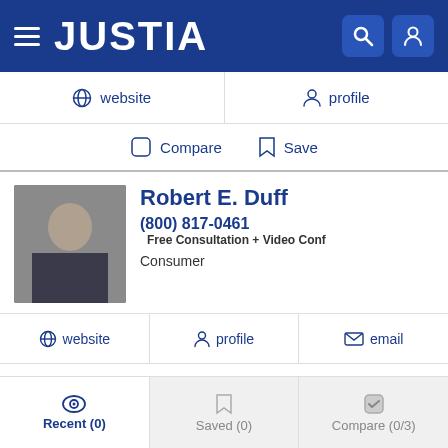JUSTIA
website   profile
Compare   Save
Robert E. Duff
(800) 817-0461 Free Consultation + Video Conf
Consumer
website   profile   email
Compare   Save
Christopher Cassidy
Recent (0)   Saved (0)   Compare (0/3)